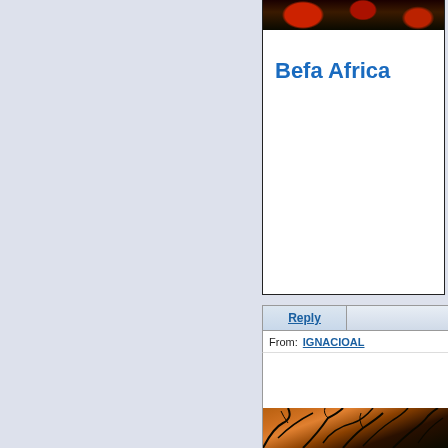Befa Africa
Reply
From: IGNACIOAL
[Figure (photo): Dark orange/sunset sky with silhouetted bare tree branches]
[Figure (photo): Dark floral/nature photo at top of card]